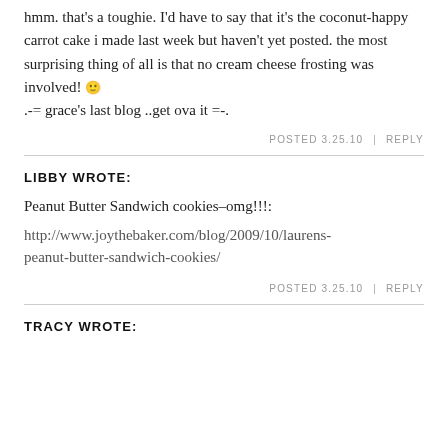hmm. that's a toughie. I'd have to say that it's the coconut-happy carrot cake i made last week but haven't yet posted. the most surprising thing of all is that no cream cheese frosting was involved! 🙂
.-= grace's last blog ..get ova it =-.
POSTED 3.25.10 | REPLY
LIBBY WROTE:
Peanut Butter Sandwich cookies–omg!!!:
http://www.joythebaker.com/blog/2009/10/laurens-peanut-butter-sandwich-cookies/
POSTED 3.25.10 | REPLY
TRACY WROTE: